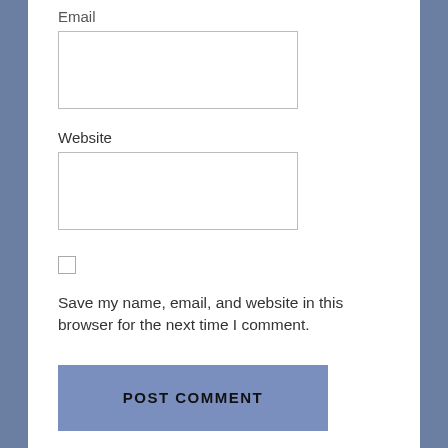Email
[Figure (other): Empty email input text field, white background with light gray border]
Website
[Figure (other): Empty website input text field, white background with light gray border]
[Figure (other): Unchecked checkbox]
Save my name, email, and website in this browser for the next time I comment.
[Figure (other): POST COMMENT button, steel blue background with bold uppercase text]